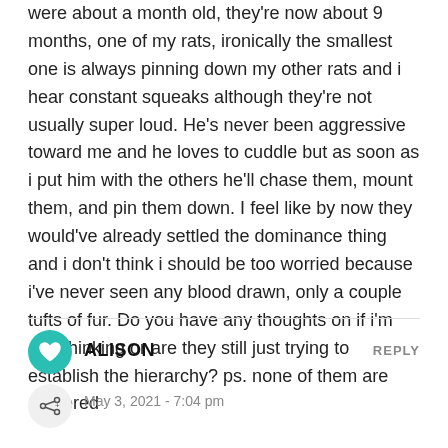were about a month old, they're now about 9 months, one of my rats, ironically the smallest one is always pinning down my other rats and i hear constant squeaks although they're not usually super loud. He's never been aggressive toward me and he loves to cuddle but as soon as i put him with the others he'll chase them, mount them, and pin them down. I feel like by now they would've already settled the dominance thing and i don't think i should be too worried because i've never seen any blood drawn, only a couple tufts of fur. Do you have any thoughts on if i'm overthinking or are they still just trying to establish the hierarchy? ps. none of them are neutered
ALISON
REPLY
May 3, 2021 - 7:04 pm